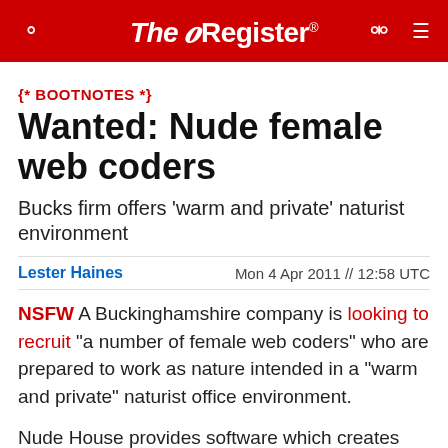The Register
{* BOOTNOTES *}
Wanted: Nude female web coders
Bucks firm offers 'warm and private' naturist environment
Lester Haines | Mon 4 Apr 2011 // 12:58 UTC
NSFW A Buckinghamshire company is looking to recruit "a number of female web coders" who are prepared to work as nature intended in a "warm and private" naturist office environment.
Nude House provides software which creates "hot-spots" on website photos, as explained here